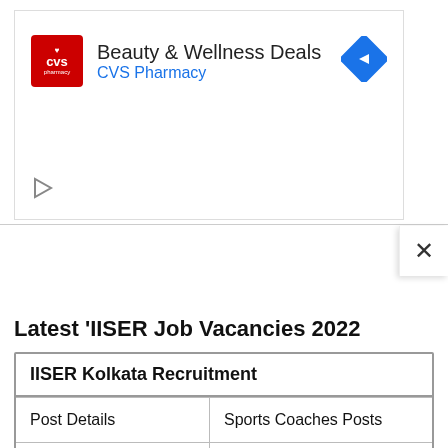[Figure (screenshot): CVS Pharmacy advertisement banner with CVS logo, 'Beauty & Wellness Deals' text, 'CVS Pharmacy' subtitle in blue, navigation arrow icon, and play button icon]
Latest 'IISER Job Vacancies 2022
| IISER Kolkata Recruitment |  |
| --- | --- |
| Post Details | Sports Coaches Posts |
| No. of Vacancies | 11 |
| Qualification | Diploma in Coaching, BPE, B.P.Ed... |